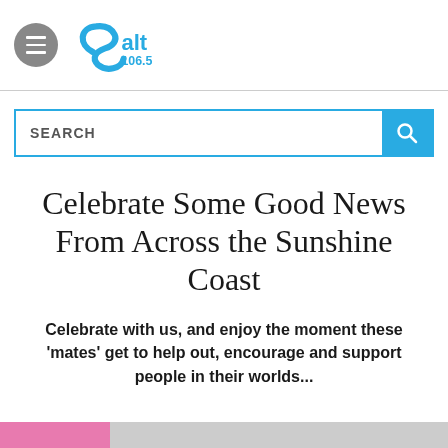[Figure (logo): Salt 106.5 radio station logo with blue S wave icon and text 'Salt 106.5' in blue]
SEARCH
Celebrate Some Good News From Across the Sunshine Coast
Celebrate with us, and enjoy the moment these 'mates' get to help out, encourage and support people in their worlds...